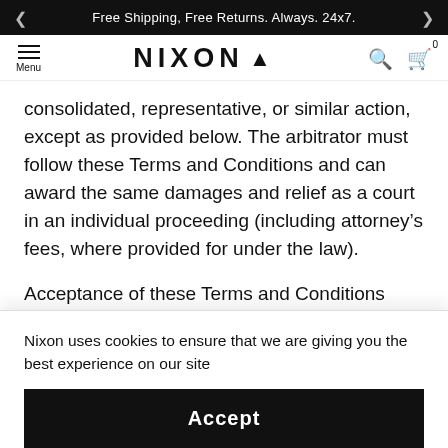Free Shipping, Free Returns. Always. 24x7.
[Figure (logo): Nixon brand logo with flame icon, navigation menu, search and cart icons]
consolidated, representative, or similar action, except as provided below. The arbitrator must follow these Terms and Conditions and can award the same damages and relief as a court in an individual proceeding (including attorney’s fees, where provided for under the law).
Acceptance of these Terms and Conditions constitutes a w...court, t...nd the a...er as a p...s a class m...action, e...
Nixon uses cookies to ensure that we are giving you the best experience on our site
Accept